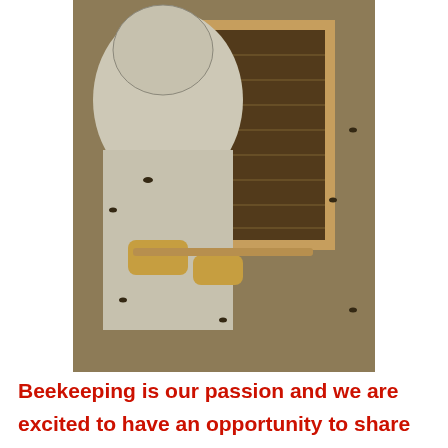[Figure (photo): A beekeeper in a protective suit holding up a honeycomb frame covered with bees]
Beekeeping is our passion and we are excited to have an opportunity to share our knowledge with you as you embark on or continue in the amazing world of bees.
[Figure (photo): Gray banner section with 'Company President' text in orange italic and a cyan circular button with three dots]